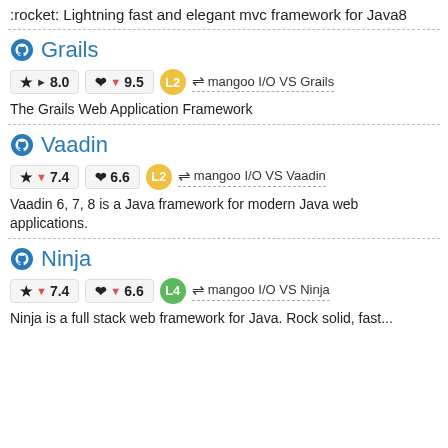:rocket: Lightning fast and elegant mvc framework for Java8
Grails
★ ▶ 8.0   ♥ ▼ 9.5   L2   ⇌ mangoo I/O VS Grails
The Grails Web Application Framework
Vaadin
★ ▼ 7.4   ♥ 6.6   L2   ⇌ mangoo I/O VS Vaadin
Vaadin 6, 7, 8 is a Java framework for modern Java web applications.
Ninja
★ ▼ 7.4   ♥ ▼ 6.6   L4   ⇌ mangoo I/O VS Ninja
Ninja is a full stack web framework for Java. Rock solid, fast...